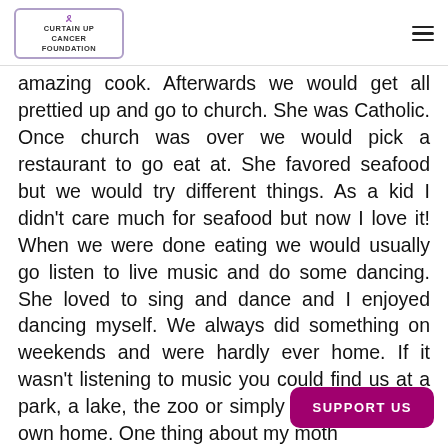Curtain Up Cancer Foundation
amazing cook. Afterwards we would get all prettied up and go to church. She was Catholic. Once church was over we would pick a restaurant to go eat at. She favored seafood but we would try different things. As a kid I didn't care much for seafood but now I love it! When we were done eating we would usually go listen to live music and do some dancing. She loved to sing and dance and I enjoyed dancing myself. We always did something on weekends and were hardly ever home. If it wasn't listening to music you could find us at a park, a lake, the zoo or simply a friend's or our own home. One thing about my moth
SUPPORT US